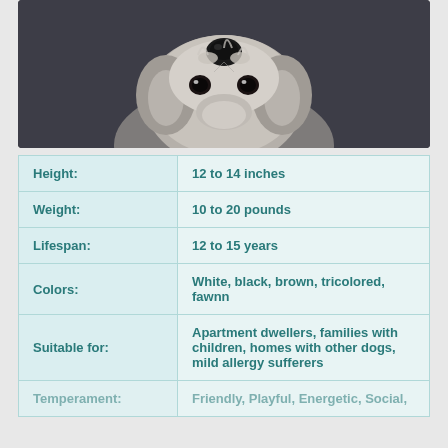[Figure (photo): Close-up photo of a small dog (likely Maltese or similar breed) with white fluffy fur, looking up at camera, against a dark blurred background]
| Height: | 12 to 14 inches |
| Weight: | 10 to 20 pounds |
| Lifespan: | 12 to 15 years |
| Colors: | White, black, brown, tricolored, fawnn |
| Suitable for: | Apartment dwellers, families with children, homes with other dogs, mild allergy sufferers |
| Temperament: | Friendly, Playful, Energetic, Social, |